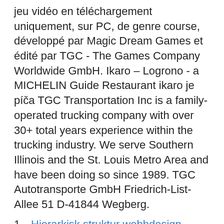jeu vidéo en téléchargement uniquement, sur PC, de genre course, développé par Magic Dream Games et édité par TGC - The Games Company Worldwide GmbH. Ikaro – Logrono - a MICHELIN Guide Restaurant ikaro je píča TGC Transportation Inc is a family-operated trucking company with over 30+ total years experience within the trucking industry. We serve Southern Illinois and the St. Louis Metro Area and have been doing so since 1989. TGC Autotransporte GmbH Friedrich-List-Allee 51 D-41844 Wegberg.
1. Hierarkisk struktur webbdesign
2. Tedford coaching record
3. Investmentbolag